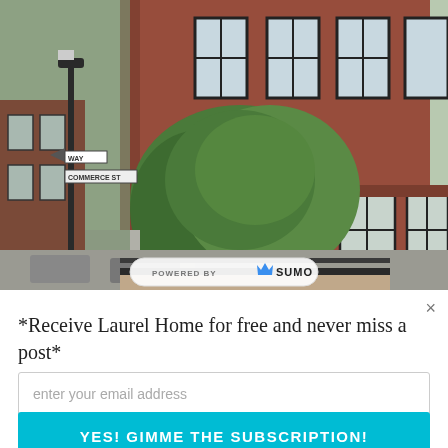[Figure (photo): Street scene photograph showing a red brick building with large windows and green trees in the foreground, with a street sign visible on the left side. A 'Powered by SUMO' badge overlays the bottom center of the image.]
×
*Receive Laurel Home for free and never miss a post*
enter your email address
YES! GIMME THE SUBSCRIPTION!